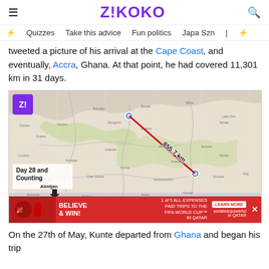Z!KOKO
Quizzes  Take this advice  Fun politics  Japa Szn
tweeted a picture of his arrival at the Cape Coast, and eventually, Accra, Ghana. At that point, he had covered 11,301 km in 31 days.
[Figure (map): Map showing a route with a red line and distance label 855.7 km, with overlay text 'Day 28 and Counting', Abidjan and Accra labels with arrows, and a Zikoko badge in top left corner.]
On the 27th of May, Kunte departed from Ghana and began his trip